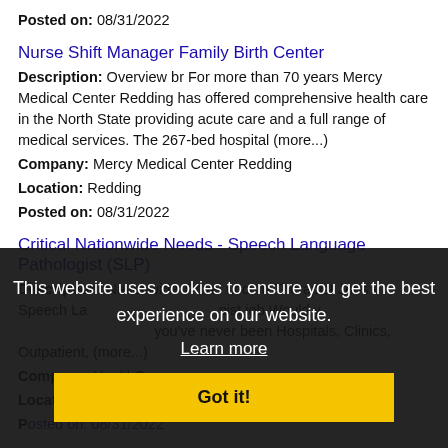Posted on: 08/31/2022
Nurse Shift Manager Family Birth Center
Description: Overview br For more than 70 years Mercy Medical Center Redding has offered comprehensive health care in the North State providing acute care and a full range of medical services. The 267-bed hospital (more...)
Company: Mercy Medical Center Redding
Location: Redding
Posted on: 08/31/2022
Critical Nationwide Needs - Speech Language Pathologist (SLP)
Description: Nationwide Travel Locum Therapist Jobs - Speech Language Pathologist job Would you like to spend the seasons somewhere you've never been Hospitals, Clinics, Outpatient, (more...)
Company: HealthCar...
Location: Redding
Posted on: 08/31/2022
This website uses cookies to ensure you get the best experience on our website.
Learn more
Got it!
Respiratory Therapist - COVID-19 Crisis Response (Nationwide)
Description: Respiratory Therapist RRT CRT Locum Tenens Travel